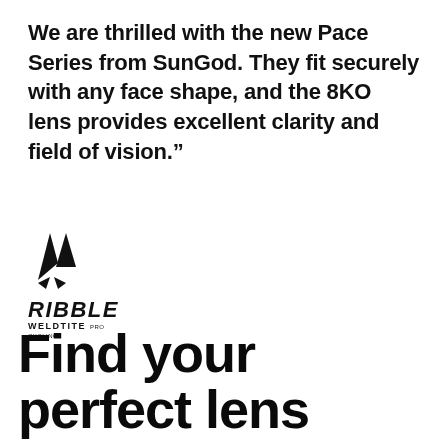We are thrilled with the new Pace Series from SunGod. They fit securely with any face shape, and the 8KO lens provides excellent clarity and field of vision."
[Figure (logo): Ribble Weldtite Pro Cycling logo — a triangular geometric cycling figure above the bold italic text RIBBLE and WELDTITE PRO CYCLING in smaller text]
Find your perfect lens